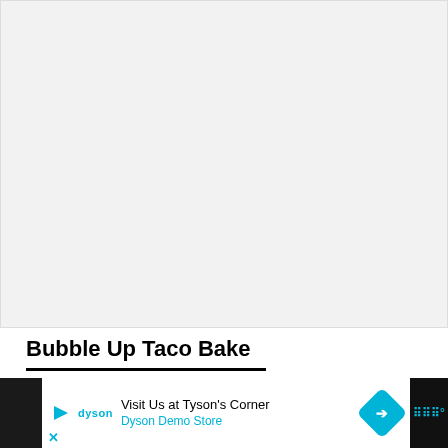[Figure (photo): Large light gray placeholder image area at top of page]
Bubble Up Taco Bake
[Figure (other): Advertisement bar at bottom: Dyson Demo Store - Visit Us at Tyson's Corner, with navigation icon and WW logo]